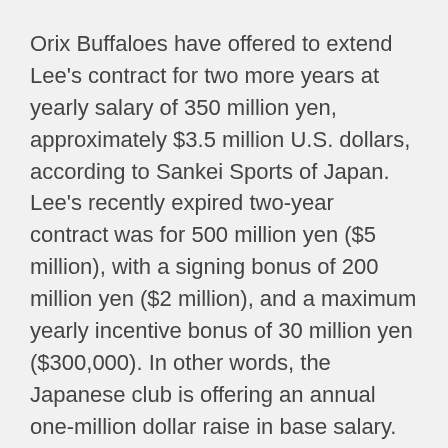Orix Buffaloes have offered to extend Lee's contract for two more years at yearly salary of 350 million yen, approximately $3.5 million U.S. dollars, according to Sankei Sports of Japan.
Lee's recently expired two-year contract was for 500 million yen ($5 million), with a signing bonus of 200 million yen ($2 million), and a maximum yearly incentive bonus of 30 million yen ($300,000). In other words, the Japanese club is offering an annual one-million dollar raise in base salary.
Orix officials appear confident that Lee will re-sign since only seven other players command that kind of salary in Japan. Among foreign players, only a former Chicago Cub, Bryan LaHair, will make more, at $4.5 million.
One of the industry's most established agents, Scott